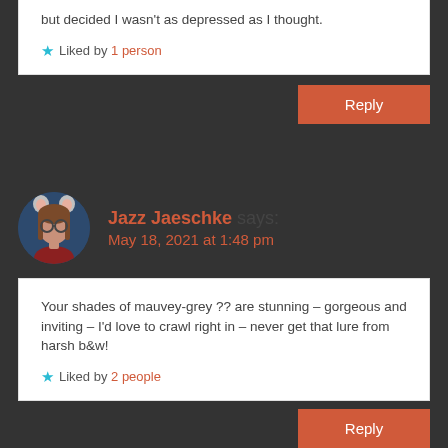but decided I wasn't as depressed as I thought.
★ Liked by 1 person
Reply
Jazz Jaeschke says: May 18, 2021 at 1:48 pm
Your shades of mauvey-grey ?? are stunning – gorgeous and inviting – I'd love to crawl right in – never get that lure from harsh b&w!
★ Liked by 2 people
Reply